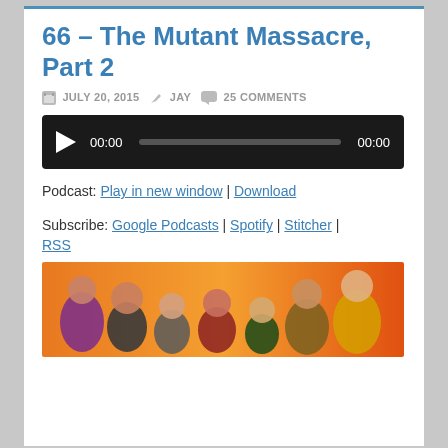66 – The Mutant Massacre, Part 2
JULY 20, 2015   JAY   25 COMMENTS
[Figure (other): Audio player with play button, time display 00:00, progress bar, and end time 00:00 on dark background]
Podcast: Play in new window | Download
Subscribe: Google Podcasts | Spotify | Stitcher | RSS
[Figure (illustration): Comic book illustration showing multiple superhero/mutant characters on an orange background]